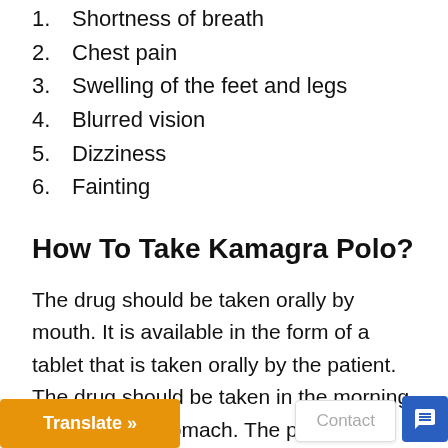1.  Shortness of breath
2.  Chest pain
3.  Swelling of the feet and legs
4.  Blurred vision
5.  Dizziness
6.  Fainting
How To Take Kamagra Polo?
The drug should be taken orally by mouth. It is available in the form of a tablet that is taken orally by the patient. The drug should be taken in the morning on an empty stomach. The patient should not take it with any other